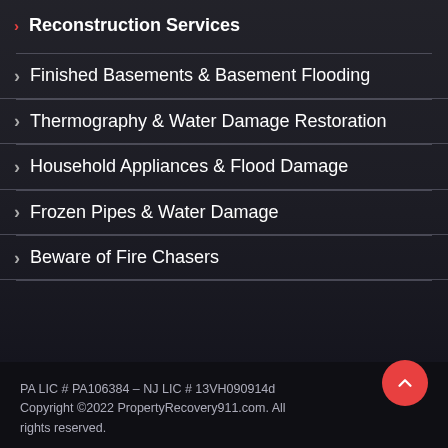Reconstruction Services
Finished Basements & Basement Flooding
Thermography & Water Damage Restoration
Household Appliances & Flood Damage
Frozen Pipes & Water Damage
Beware of Fire Chasers
PA LIC # PA106384 – NJ LIC # 13VH090914d
Copyright ©2022 PropertyRecovery911.com. All rights reserved.